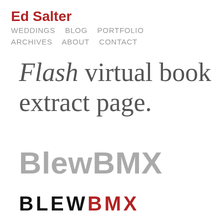Ed Salter
WEDDINGS   BLOG   PORTFOLIO
ARCHIVES   ABOUT   CONTACT
Flash virtual book extract page.
BlewBMX
BLEWBMX